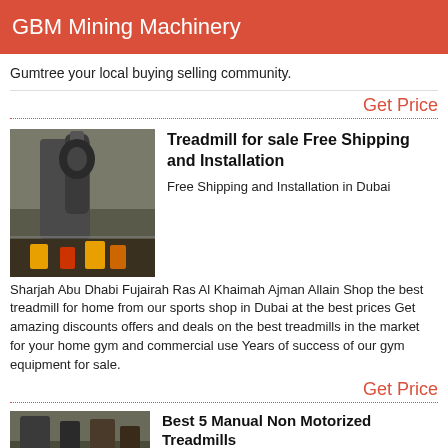GBM Mining Machinery
Gumtree your local buying selling community.
Get Price
[Figure (photo): Industrial machinery in a large warehouse setting, showing large grey equipment.]
Treadmill for sale Free Shipping and Installation
Free Shipping and Installation in Dubai Sharjah Abu Dhabi Fujairah Ras Al Khaimah Ajman Allain Shop the best treadmill for home from our sports shop in Dubai at the best prices Get amazing discounts offers and deals on the best treadmills in the market for your home gym and commercial use Years of success of our gym equipment for sale.
Get Price
[Figure (photo): Partial view of industrial or gym equipment in a facility.]
Best 5 Manual Non Motorized Treadmills